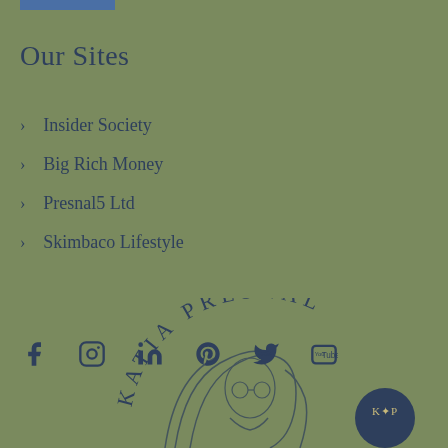Our Sites
Insider Society
Big Rich Money
Presnal5 Ltd
Skimbaco Lifestyle
[Figure (logo): Social media icons: Facebook, Instagram, LinkedIn, Pinterest, Twitter, YouTube]
[Figure (logo): Katia Presnal circular logo with KP monogram badge and line illustration of woman with long hair]